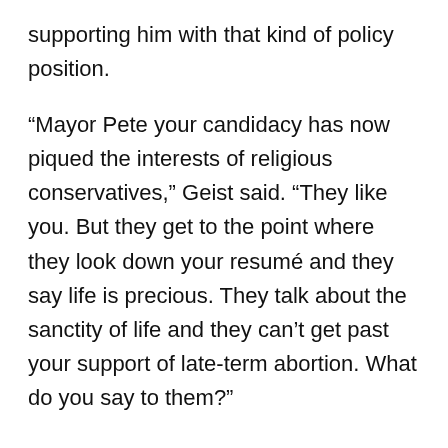supporting him with that kind of policy position.
“Mayor Pete your candidacy has now piqued the interests of religious conservatives,” Geist said. “They like you. But they get to the point where they look down your resumé and they say life is precious. They talk about the sanctity of life and they can’t get past your support of late-term abortion. What do you say to them?”